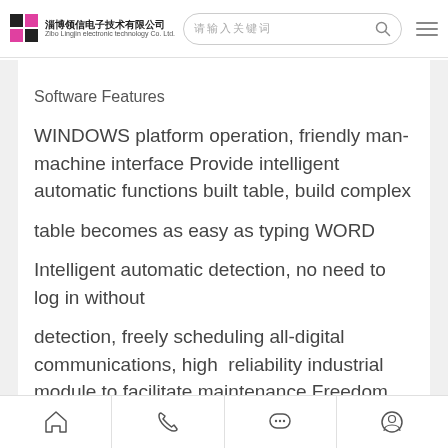淄博领信电子技术有限公司 Zibo Lingjin electronic technology Co. Ltd.
Software Features
WINDOWS platform operation, friendly man-machine interface Provide intelligent automatic functions built table, build complex
table becomes as easy as typing WORD
Intelligent automatic detection, no need to log in without
detection, freely scheduling all-digital communications, high  reliability industrial module to facilitate maintenance Freedom pre-queuing system
Home | Phone | Message | User